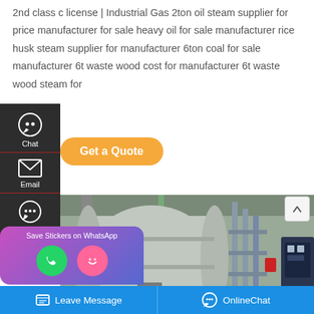2nd class c license | Industrial Gas 2ton oil steam supplier for price manufacturer for sale heavy oil for sale manufacturer rice husk steam supplier for manufacturer 6ton coal for sale manufacturer 6t waste wood cost for manufacturer 6t waste wood steam for
[Figure (screenshot): Website UI showing sidebar with Chat, Email, Contact icons, a Get a Quote button, a WhatsApp Save Stickers popup, and a photo of industrial steam boiler equipment]
Save Stickers on WhatsApp
Leave Message
OnlineChat